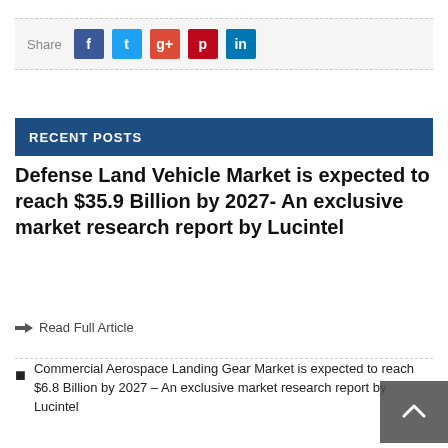[Figure (infographic): Share bar with social media buttons: Facebook (blue), Twitter (light blue), Google+ (red), Pinterest (dark red), LinkedIn (blue)]
RECENT POSTS
Defense Land Vehicle Market is expected to reach $35.9 Billion by 2027- An exclusive market research report by Lucintel
Read Full Article
Commercial Aerospace Landing Gear Market is expected to reach $6.8 Billion by 2027 – An exclusive market research report by Lucintel